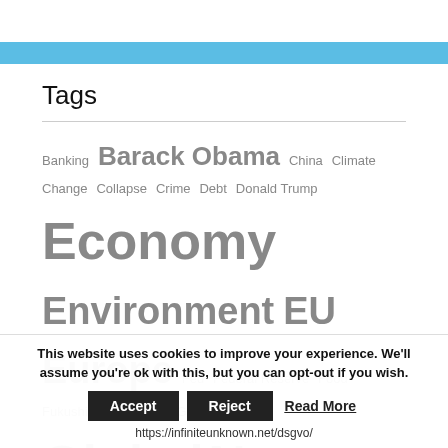[Figure (other): Light blue horizontal banner bar near top of page]
Tags
Banking Barack Obama China Climate Change Collapse Crime Debt Donald Trump Economy Environment EU Europe Fed Federal Reserve Food Fukushima Germany Global Cooling Global News Global Warming Government Health Hum Israel Japan Middle East Migrant Crisis
This website uses cookies to improve your experience. We'll assume you're ok with this, but you can opt-out if you wish.
Accept | Reject | Read More
https://infiniteunknown.net/dsgvo/